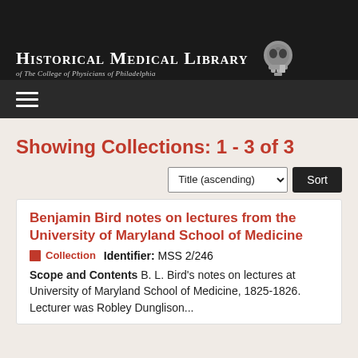[Figure (logo): Historical Medical Library of The College of Physicians of Philadelphia logo with skull icon on dark background]
Showing Collections: 1 - 3 of 3
Title (ascending) Sort
Benjamin Bird notes on lectures from the University of Maryland School of Medicine
Collection   Identifier: MSS 2/246
Scope and Contents B. L. Bird's notes on lectures at University of Maryland School of Medicine, 1825-1826. Lecturer was Robley Dunglison...